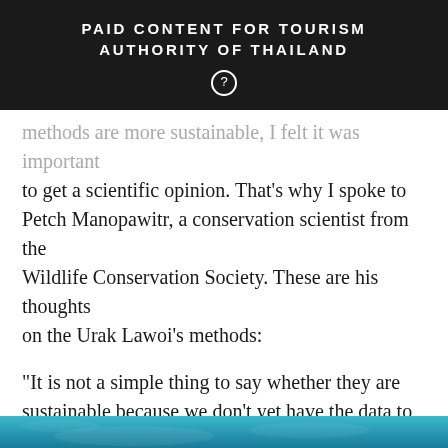PAID CONTENT FOR TOURISM AUTHORITY OF THAILAND
methods are more sustainable, I felt it was important to get a scientific opinion. That’s why I spoke to Petch Manopawitr, a conservation scientist from the Wildlife Conservation Society. These are his thoughts on the Urak Lawoi’s methods:
“It is not a simple thing to say whether they are sustainable because we don’t yet have the data to back it up. But I think their fishing methods have the most potential to be sustainable because they are naturally selective and can certainly be managed towards sustainability.”